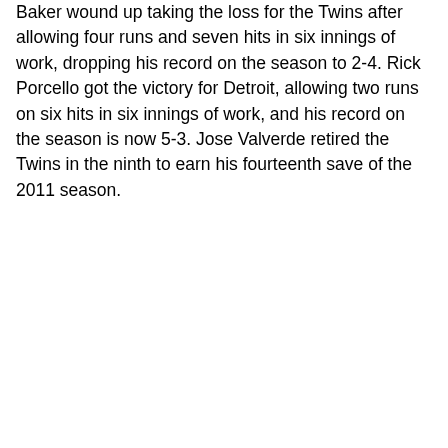Baker wound up taking the loss for the Twins after allowing four runs and seven hits in six innings of work, dropping his record on the season to 2-4. Rick Porcello got the victory for Detroit, allowing two runs on six hits in six innings of work, and his record on the season is now 5-3. Jose Valverde retired the Twins in the ninth to earn his fourteenth save of the 2011 season.